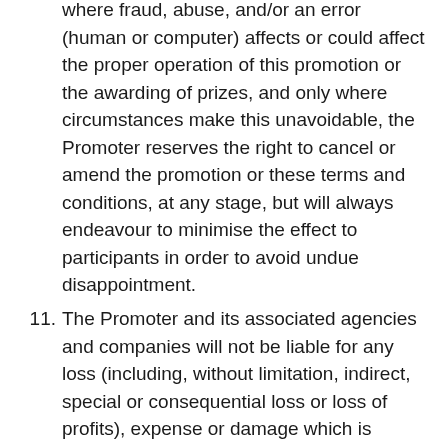where fraud, abuse, and/or an error (human or computer) affects or could affect the proper operation of this promotion or the awarding of prizes, and only where circumstances make this unavoidable, the Promoter reserves the right to cancel or amend the promotion or these terms and conditions, at any stage, but will always endeavour to minimise the effect to participants in order to avoid undue disappointment.
11. The Promoter and its associated agencies and companies will not be liable for any loss (including, without limitation, indirect, special or consequential loss or loss of profits), expense or damage which is suffered or sustained (whether or not arising from any person's negligence) in connection with this promotion or accepting or using the prize, except for any liability which cannot be excluded by law (including personal injury, death and fraud) in which case that liability is limited to the minimum